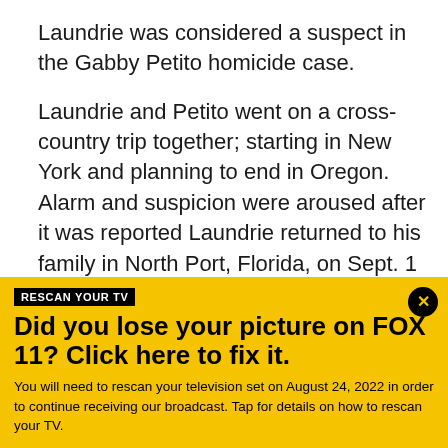Laundrie was considered a suspect in the Gabby Petito homicide case.

Laundrie and Petito went on a cross-country trip together; starting in New York and planning to end in Oregon.  Alarm and suspicion were aroused after it was reported Laundrie returned to his family in North Port, Florida, on Sept. 1 without Petito.

On Sept. 11, Petito was reported missing to New York police by her mother, Nicole Schmidt. On Sept. 14,
[Figure (infographic): Yellow advertisement banner for FOX 11 TV rescan notice. Contains a black 'RESCAN YOUR TV' label badge, bold headline 'Did you lose your picture on FOX 11? Click here to fix it.' and body text about rescanning on August 24, 2022, with a circular close button (X) in the top right corner.]